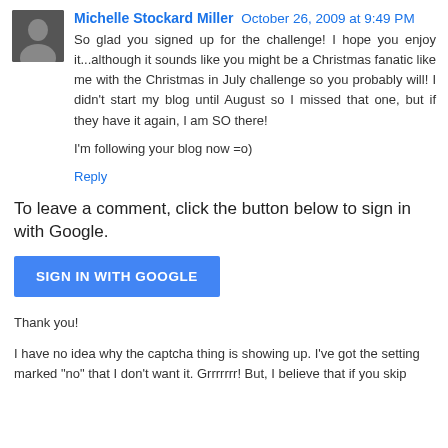Michelle Stockard Miller  October 26, 2009 at 9:49 PM
So glad you signed up for the challenge! I hope you enjoy it...although it sounds like you might be a Christmas fanatic like me with the Christmas in July challenge so you probably will! I didn't start my blog until August so I missed that one, but if they have it again, I am SO there!
I'm following your blog now =o)
Reply
To leave a comment, click the button below to sign in with Google.
SIGN IN WITH GOOGLE
Thank you!
I have no idea why the captcha thing is showing up. I've got the setting marked "no" that I don't want it. Grrrrrrr! But, I believe that if you skip